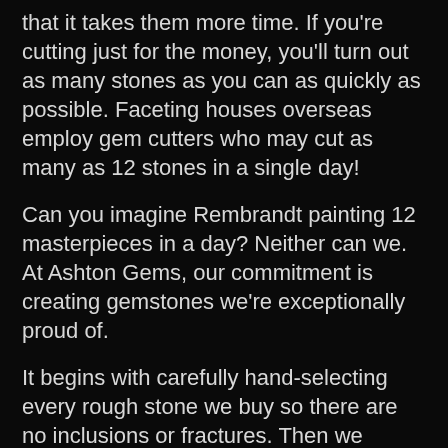that it takes them more time. If you're cutting just for the money, you'll turn out as many stones as you can as quickly as possible. Faceting houses overseas employ gem cutters who may cut as many as 12 stones in a single day!
Can you imagine Rembrandt painting 12 masterpieces in a day? Neither can we. At Ashton Gems, our commitment is creating gemstones we're exceptionally proud of.
It begins with carefully hand-selecting every rough stone we buy so there are no inclusions or fractures. Then we painstakingly cut the stone on the most highly-calibrated precision equipment available.
Finally, when it gets to the polishing stage, some people like to use Diamond (from 3,000